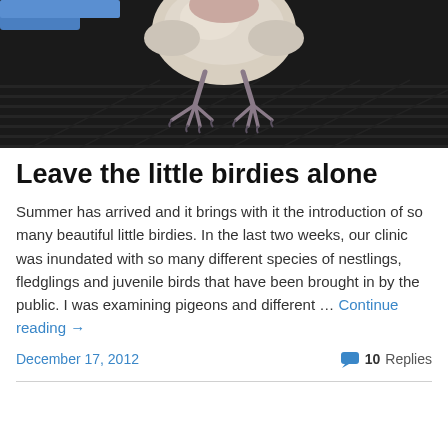[Figure (photo): Close-up photograph of a baby bird (nestling/fledgling) from below, showing its pale feathered body, pink skin, and dark clawed feet on a dark ridged surface. A blue object is partially visible in the top left corner.]
Leave the little birdies alone
Summer has arrived and it brings with it the introduction of so many beautiful little birdies. In the last two weeks, our clinic was inundated with so many different species of nestlings, fledglings and juvenile birds that have been brought in by the public. I was examining pigeons and different … Continue reading →
December 17, 2012
10 Replies